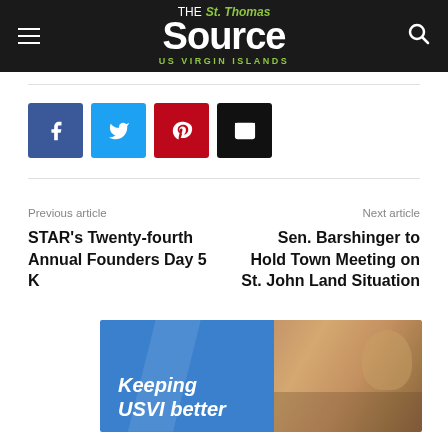The St. Thomas Source — US Virgin Islands
[Figure (infographic): Social sharing buttons: Facebook (blue), Twitter (cyan), Pinterest (red), Email (black)]
Previous article
STAR's Twenty-fourth Annual Founders Day 5 K
Next article
Sen. Barshinger to Hold Town Meeting on St. John Land Situation
[Figure (illustration): Advertisement banner: 'Keeping USVI better' with photo of smiling woman and child, blue background]